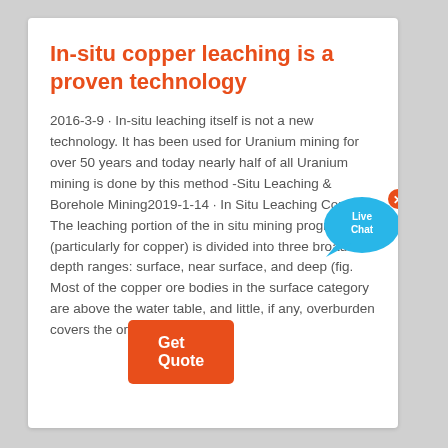In-situ copper leaching is a proven technology
2016-3-9 · In-situ leaching itself is not a new technology. It has been used for Uranium mining for over 50 years and today nearly half of all Uranium mining is done by this method -Situ Leaching & Borehole Mining2019-1-14 · In Situ Leaching Copper . The leaching portion of the in situ mining program (particularly for copper) is divided into three broad depth ranges: surface, near surface, and deep (fig. Most of the copper ore bodies in the surface category are above the water table, and little, if any, overburden covers the ore.
[Figure (other): Live Chat widget bubble with blue speech bubble and orange 'x' close button]
Get Quote